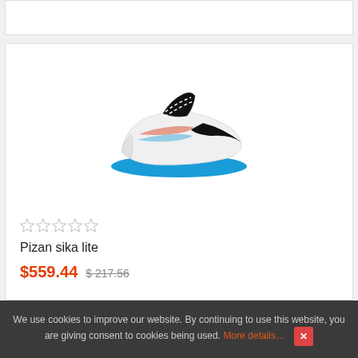[Figure (photo): White Nike soccer cleat/football boot with blue sole and cleats, black swoosh, and orange/coral accent stripe along the side]
★★★★★ (empty stars rating)
Pizan sika lite
$559.44  $ 217.56
We use cookies to improve our website. By continuing to use this website, you are giving consent to cookies being used. More details… ✕